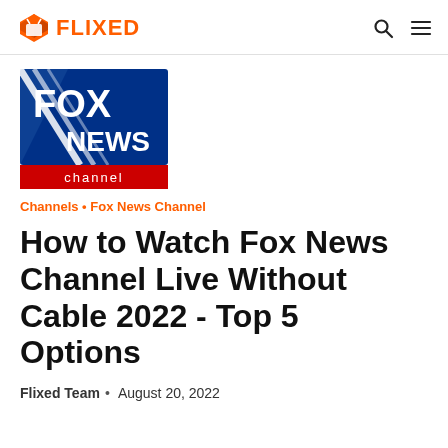FLIXED
[Figure (logo): Fox News Channel logo — blue square with white diagonal stripes and white text FOX NEWS, red banner at bottom reading 'channel']
Channels • Fox News Channel
How to Watch Fox News Channel Live Without Cable 2022 - Top 5 Options
Flixed Team  •  August 20, 2022